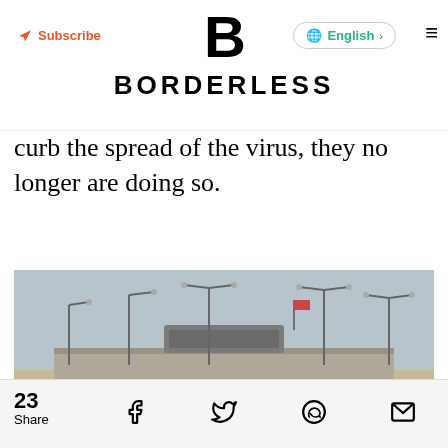BORDERLESS
curb the spread of the virus, they no longer are doing so.
[Figure (photo): Photo of a border crossing with multiple lanes of traffic, street lights/lamp posts, an overhead gantry sign, and a hazy sky in the background.]
23 Share